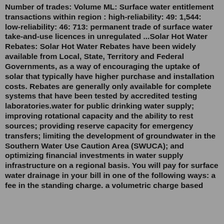Number of trades: Volume ML: Surface water entitlement transactions within region : high-reliability: 49: 1,544: low-reliability: 46: 713: permanent trade of surface water take-and-use licences in unregulated ...Solar Hot Water Rebates: Solar Hot Water Rebates have been widely available from Local, State, Territory and Federal Governments, as a way of encouraging the uptake of solar that typically have higher purchase and installation costs. Rebates are generally only available for complete systems that have been tested by accredited testing laboratories.water for public drinking water supply; improving rotational capacity and the ability to rest sources; providing reserve capacity for emergency transfers; limiting the development of groundwater in the Southern Water Use Caution Area (SWUCA); and optimizing financial investments in water supply infrastructure on a regional basis. You will pay for surface water drainage in your bill in one of the following ways: a fee in the standing charge. a volumetric charge based